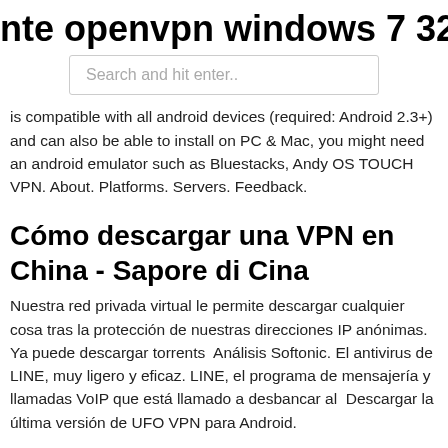nte openvpn windows 7 32 bit desca
Search and hit enter..
is compatible with all android devices (required: Android 2.3+) and can also be able to install on PC & Mac, you might need an android emulator such as Bluestacks, Andy OS TOUCH VPN. About. Platforms. Servers. Feedback.
Cómo descargar una VPN en China - Sapore di Cina
Nuestra red privada virtual le permite descargar cualquier cosa tras la protección de nuestras direcciones IP anónimas. Ya puede descargar torrents  Análisis Softonic. El antivirus de LINE, muy ligero y eficaz. LINE, el programa de mensajería y llamadas VoIP que está llamado a desbancar al  Descargar la última versión de UFO VPN para Android.
El 60% de las aplicaciones más populares de VPN tiene